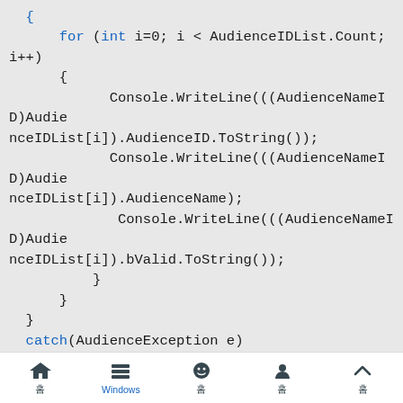[Figure (screenshot): Code snippet showing a for loop iterating over AudienceIDList, with Console.WriteLine calls for AudienceID, AudienceName, and bValid properties, followed by a catch block for AudienceException.]
홈  Windows  홈  홈  홈